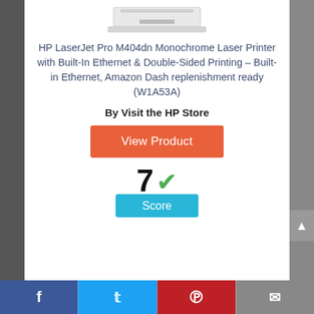[Figure (photo): HP LaserJet Pro M404dn printer image (partially cropped at top)]
HP LaserJet Pro M404dn Monochrome Laser Printer with Built-In Ethernet & Double-Sided Printing – Built-in Ethernet, Amazon Dash replenishment ready (W1A53A)
By Visit the HP Store
View Product
7 ✓
Score